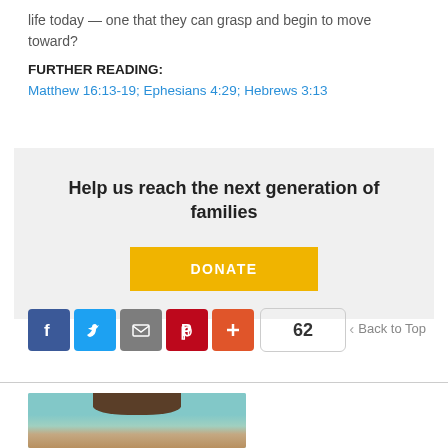life today — one that they can grasp and begin to move toward?
FURTHER READING:
Matthew 16:13-19; Ephesians 4:29; Hebrews 3:13
Help us reach the next generation of families
DONATE
[Figure (other): Social sharing icons row: Facebook (blue), Twitter (blue), Email (gray), Pinterest (red), Plus/More (orange-red), share count badge showing 62]
Back to Top
[Figure (photo): Partial photo of a person's head/face, cropped at bottom of page]